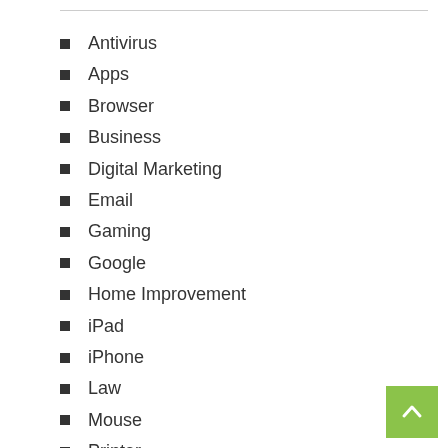Antivirus
Apps
Browser
Business
Digital Marketing
Email
Gaming
Google
Home Improvement
iPad
iPhone
Law
Mouse
Printer
Productivity
Skype